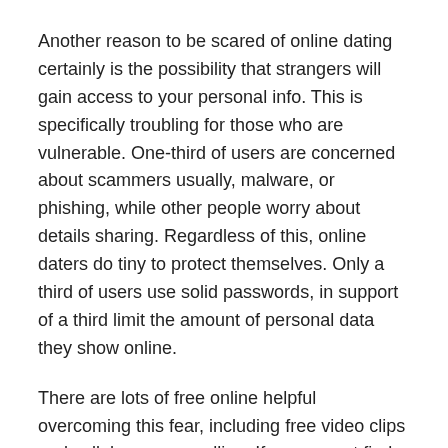Another reason to be scared of online dating certainly is the possibility that strangers will gain access to your personal info. This is specifically troubling for those who are vulnerable. One-third of users are concerned about scammers usually, malware, or phishing, while other people worry about details sharing. Regardless of this, online daters do tiny to protect themselves. Only a third of users use solid passwords, in support of a third limit the amount of personal data they show online.
There are lots of free online helpful overcoming this fear, including free video clips and cellphone counselling. If you cannot find a good origin online, additionally, there are a number of specialist experts ideal help you conquer your anxiety. Relationship fears can also be treated through reasonable safeguards. You should always be aware of red flags to prevent a situation which may end horribly. You should also be equipped for rejection togo women and humiliation.